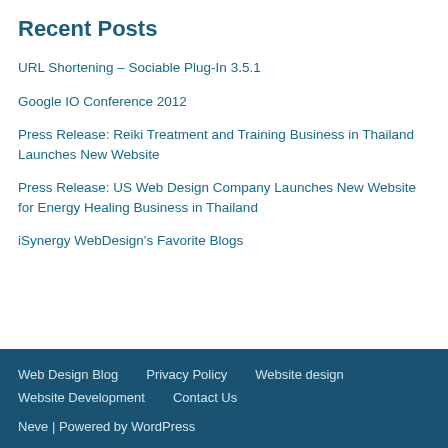Recent Posts
URL Shortening – Sociable Plug-In 3.5.1
Google IO Conference 2012
Press Release: Reiki Treatment and Training Business in Thailand Launches New Website
Press Release: US Web Design Company Launches New Website for Energy Healing Business in Thailand
iSynergy WebDesign's Favorite Blogs
Web Design Blog  Privacy Policy  Website design  Website Development  Contact Us
Neve | Powered by WordPress